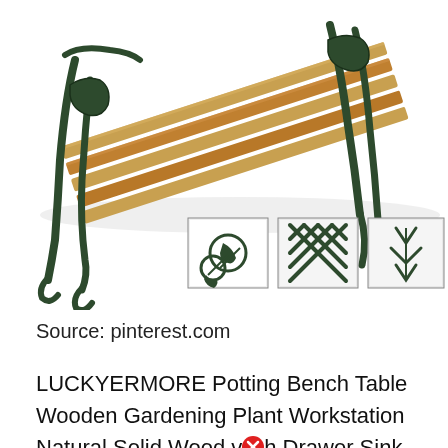[Figure (photo): Garden bench with dark green ornate cast iron legs and arms with decorative rose pattern, wooden slat seat in natural wood color. Below are three close-up detail shots of different decorative cast iron panel designs: roses/floral pattern, lattice/diamond pattern, and a third ornate pattern.]
Source: pinterest.com
LUCKYERMORE Potting Bench Table Wooden Gardening Plant Workstation Natural Solid Wood with Drawer Sink Hook